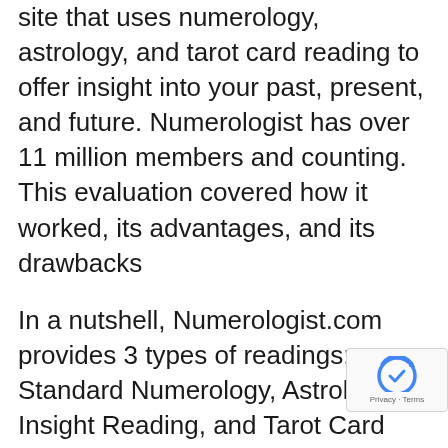site that uses numerology, astrology, and tarot card reading to offer insight into your past, present, and future. Numerologist has over 11 million members and counting. This evaluation covered how it worked, its advantages, and its drawbacks
In a nutshell, Numerologist.com provides 3 types of readings: Standard Numerology, Astrology Insight Reading, and Tarot Card Reading. The Standard Numerology reading is free of charge! That's right– you can access this information for no cost at all! And the Astrology Insight Reading also features a totally free trial that enables you to evaluate out their services for 7 days before you have to decide of whether or not to subscribe to their service. It deserves providing a shot if